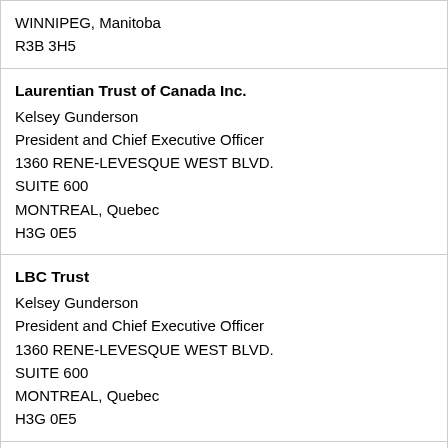| WINNIPEG, Manitoba
R3B 3H5 |
| Laurentian Trust of Canada Inc.
Kelsey Gunderson
President and Chief Executive Officer
1360 RENE-LEVESQUE WEST BLVD.
SUITE 600
MONTREAL, Quebec
H3G 0E5 |
| LBC Trust
Kelsey Gunderson
President and Chief Executive Officer
1360 RENE-LEVESQUE WEST BLVD.
SUITE 600
MONTREAL, Quebec
H3G 0E5 |
| Legacy Private Trust
Andrea C. Love
Chief Executive Officer
35 MADISON AVENUE |